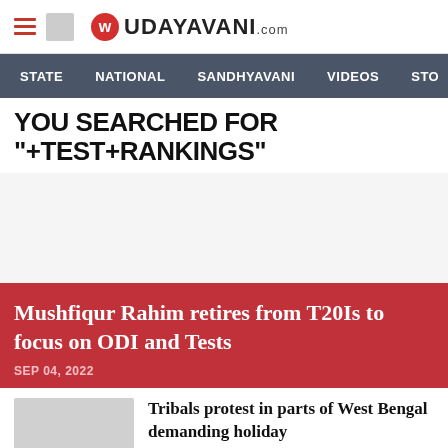UDAYAVANI.com
STATE   NATIONAL   SANDHYAVANI   VIDEOS   STO
YOU SEARCHED FOR "+TEST+RANKINGS"
[Figure (other): Advertisement area, grey background]
Mushfiqur Rahim retires from T20Is to focus on ODI and Tests
SEP 04, 2022
Tribals protest in parts of West Bengal demanding holiday
SEP 03, 2022